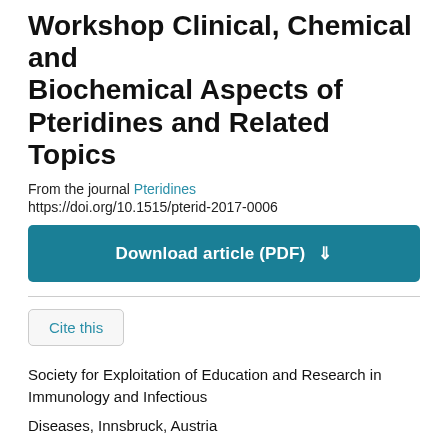Workshop Clinical, Chemical and Biochemical Aspects of Pteridines and Related Topics
From the journal Pteridines
https://doi.org/10.1515/pterid-2017-0006
Download article (PDF)
Cite this
Society for Exploitation of Education and Research in Immunology and Infectious
Diseases, Innsbruck, Austria
in collaboration with
The International Society of Pteridinology